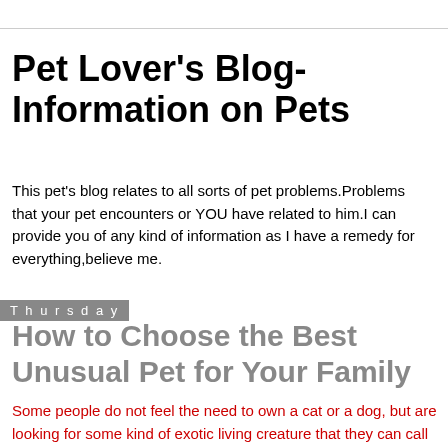Pet Lover's Blog- Information on Pets
This pet's blog relates to all sorts of pet problems.Problems that your pet encounters or YOU have related to him.I can provide you of any kind of information as I have a remedy for everything,believe me.
Thursday
How to Choose the Best Unusual Pet for Your Family
Some people do not feel the need to own a cat or a dog, but are looking for some kind of exotic living creature that they can call their own. It seems that it is becoming increasingly